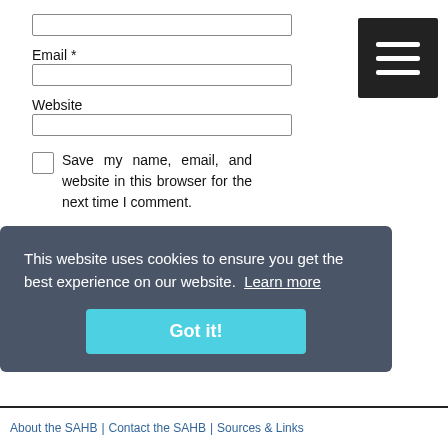Email *
Website
Save my name, email, and website in this browser for the next time I comment.
Please enter an answer in digits:
This website uses cookies to ensure you get the best experience on our website. Learn more
Got it!
About the SAHB | Contact the SAHB | Sources & Links